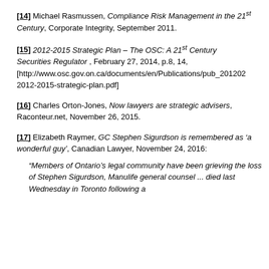[14] Michael Rasmussen, Compliance Risk Management in the 21st Century, Corporate Integrity, September 2011.
[15] 2012-2015 Strategic Plan – The OSC: A 21st Century Securities Regulator, February 27, 2014, p.8, 14, [http://www.osc.gov.on.ca/documents/en/Publications/pub_201202 2012-2015-strategic-plan.pdf]
[16] Charles Orton-Jones, Now lawyers are strategic advisers, Raconteur.net, November 26, 2015.
[17] Elizabeth Raymer, GC Stephen Sigurdson is remembered as 'a wonderful guy', Canadian Lawyer, November 24, 2016:
“Members of Ontario’s legal community have been grieving the loss of Stephen Sigurdson, Manulife general counsel ... died last Wednesday in Toronto following a